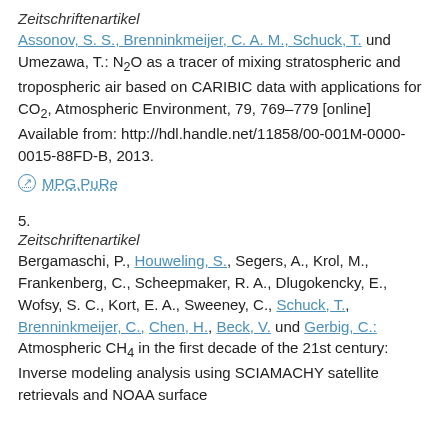Zeitschriftenartikel
Assonov, S. S., Brenninkmeijer, C. A. M., Schuck, T. und Umezawa, T.: N₂O as a tracer of mixing stratospheric and tropospheric air based on CARIBIC data with applications for CO₂, Atmospheric Environment, 79, 769–779 [online] Available from: http://hdl.handle.net/11858/00-001M-0000-0015-88FD-B, 2013.
⊘ MPG.PuRe
5.
Zeitschriftenartikel
Bergamaschi, P., Houweling, S., Segers, A., Krol, M., Frankenberg, C., Scheepmaker, R. A., Dlugokencky, E., Wofsy, S. C., Kort, E. A., Sweeney, C., Schuck, T., Brenninkmeijer, C., Chen, H., Beck, V. und Gerbig, C.: Atmospheric CH₄ in the first decade of the 21st century: Inverse modeling analysis using SCIAMACHY satellite retrievals and NOAA surface